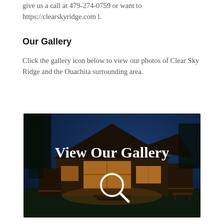give us a call at 479-274-0759 or want to https://clearskyridge.com l.
Our Gallery
Click the gallery icon below to view our photos of Clear Sky Ridge and the Ouachita surrounding area.
[Figure (photo): Night photo of a log cabin with warm interior lights glowing through large windows, surrounded by trees. White text overlay reads 'View Our Gallery' with a magnifying glass icon below.]